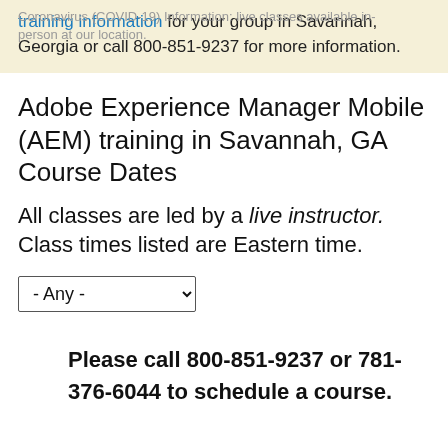training information for your group in Savannah, Georgia or call 800-851-9237 for more information.
Adobe Experience Manager Mobile (AEM) training in Savannah, GA Course Dates
All classes are led by a live instructor. Class times listed are Eastern time.
- Any -
Please call 800-851-9237 or 781-376-6044 to schedule a course.